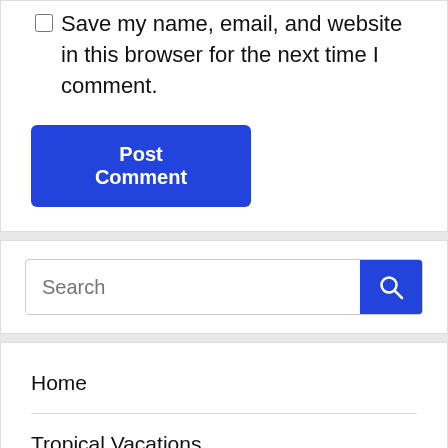Save my name, email, and website in this browser for the next time I comment.
Post Comment
[Figure (screenshot): Search input field with blue search button containing a magnifying glass icon]
Home
Tropical Vacations
Fun In The Sun